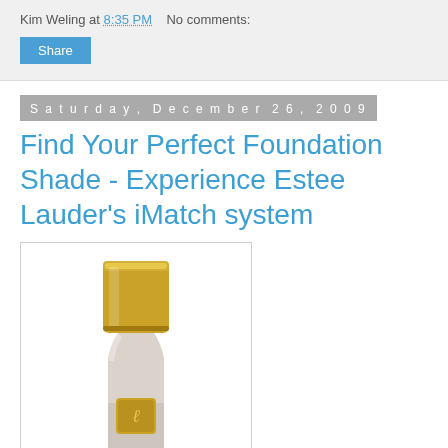Kim Weling at 8:35 PM   No comments:
Share
Saturday, December 26, 2009
Find Your Perfect Foundation Shade - Experience Estee Lauder's iMatch system
[Figure (photo): Estee Lauder foundation bottle with gold cap and EL monogram logo on a white background]